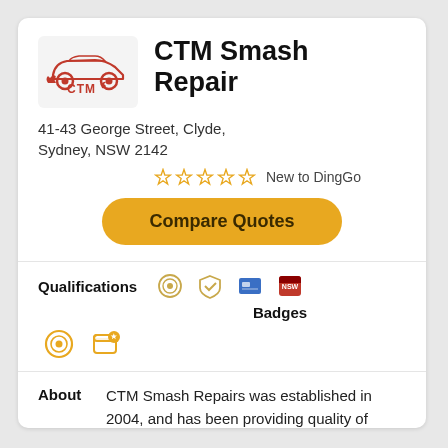CTM Smash Repair
41-43 George Street, Clyde, Sydney, NSW 2142
New to DingGo
Compare Quotes
Qualifications
Badges
About
CTM Smash Repairs was established in 2004, and has been providing quality of mechanical and smash repair services to the